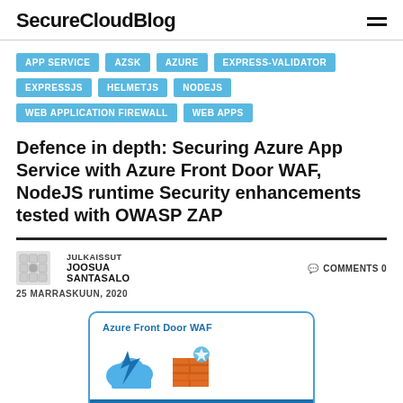SecureCloudBlog
APP SERVICE
AZSK
AZURE
EXPRESS-VALIDATOR
EXPRESSJS
HELMETJS
NODEJS
WEB APPLICATION FIREWALL
WEB APPS
Defence in depth: Securing Azure App Service with Azure Front Door WAF, NodeJS runtime Security enhancements tested with OWASP ZAP
JULKAISSUT JOOSUA SANTASALO
COMMENTS 0
25 MARRASKUUN, 2020
[Figure (illustration): Azure Front Door WAF card showing Azure cloud icon and firewall/shield icon with a 'Threats identified by WAF rules' banner at the bottom]